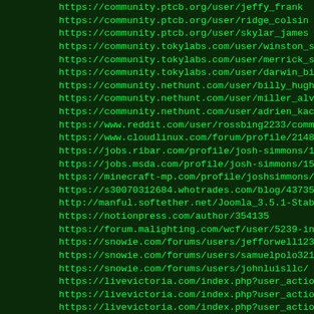https://community.ptcb.org/user/jeffy_frank
https://community.ptcb.org/user/ridge_colsin
https://community.ptcb.org/user/skylar_james
https://community.tokylabs.com/user/winston_smith
https://community.tokylabs.com/user/merrick_sam
https://community.tokylabs.com/user/darwin_billy
https://community.nethunt.com/user/billy_hugh
https://community.nethunt.com/user/miller_alvaro
https://community.nethunt.com/user/adrien_kace
https://www.reddit.com/user/rossbing2233/comments/m1txgi/wh...
https://www.cloudlinux.com/forum/profile/21485-joshsimmons...
https://jobs.ribar.com/profile/josh-simmons/1585044/
https://jobs.msda.com/profile/josh-simmons/1585045/
https://minecraft-mp.com/profile/joshsimmons/
https://s30070312684.whotrades.com/blog/43735212778?nrac=1...
http://manful.softether.net/Joomla_3.5.1-Stable-Full_Packa...
https://notionpress.com/author/354135
https://forum.malighting.com/wcf/user/5239-ingramfleming/#w...
https://snowie.com/forums/users/jefforwell123/
https://snowie.com/forums/users/samuelpolo321/
https://snowie.com/forums/users/johnluisllc/
https://livevictoria.com/index.php?user_action=info&userid=...
https://livevictoria.com/index.php?user_action=info&userid=...
https://livevictoria.com/index.php?user_action=info&userid=...
https://gaiauniversity.org/members/jonathanluis/profile/
https://gaiauniversity.org/members/smithwell/profile/
https://gaiauniversity.org/members/georgecolin/profile/
https://www.channelfocuscommunity.net/forum/general-channel...
https://www.channelfocuscommunity.net/forum/general-channel...